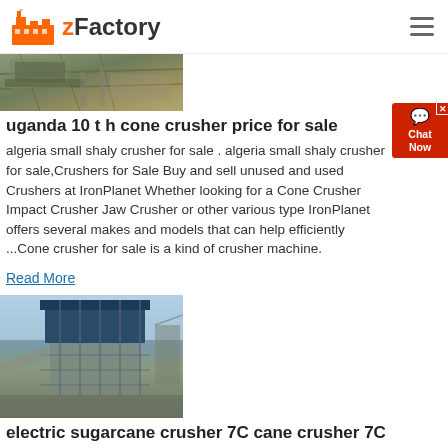zFactory
[Figure (photo): Industrial machinery / conveyor equipment photo at top of page]
uganda 10 t h cone crusher price for sale
algeria small shaly crusher for sale . algeria small shaly crusher for sale,Crushers for Sale Buy and sell unused and used Crushers at IronPlanet Whether looking for a Cone Crusher Impact Crusher Jaw Crusher or other various type IronPlanet offers several makes and models that can help efficiently ...Cone crusher for sale is a kind of crusher machine.
Read More
[Figure (photo): Large industrial plant with blue-roofed structure, sugarcane/industrial processing facility]
electric sugarcane crusher 7C cane crusher 7C cane
Alibaba offers 1,271 sugar cane crusher machine for sale products. About